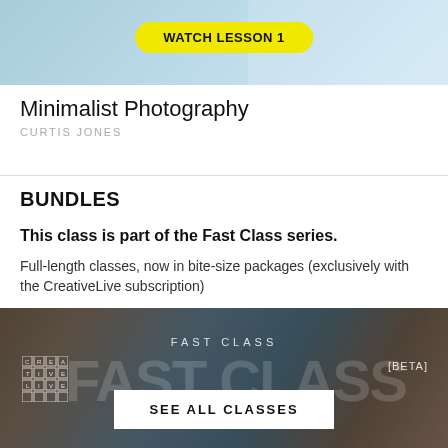[Figure (screenshot): Top portion of a course page showing a light blue background with a yellow 'WATCH LESSON 1' button]
Minimalist Photography
CURTIS JONES
BUNDLES
This class is part of the Fast Class series.
Full-length classes, now in bite-size packages (exclusively with the CreativeLive subscription)
[Figure (screenshot): Bottom image showing people working, with 'FAST CLASS' label, CreativeLive logo grid, 'FAST CLASS' large text, [BETA] label, and 'SEE ALL CLASSES' button]